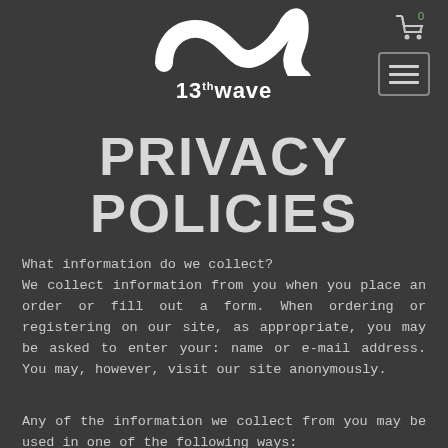[Figure (logo): 13th Wave logo with white wave/swirl graphic above the text '13th wave']
PRIVACY POLICIES
What information do we collect? We collect information from you when you place an order or fill out a form. When ordering or registering on our site, as appropriate, you may be asked to enter your: name or e-mail address. You may, however, visit our site anonymously.
Any of the information we collect from you may be used in one of the following ways: